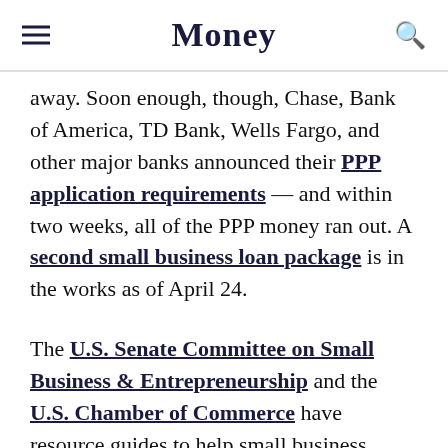Money
away. Soon enough, though, Chase, Bank of America, TD Bank, Wells Fargo, and other major banks announced their PPP application requirements — and within two weeks, all of the PPP money ran out. A second small business loan package is in the works as of April 24.
The U.S. Senate Committee on Small Business & Entrepreneurship and the U.S. Chamber of Commerce have resource guides to help small business owners understand their options and the